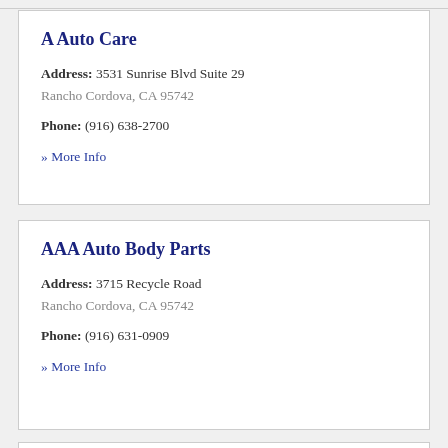A Auto Care
Address: 3531 Sunrise Blvd Suite 29
Rancho Cordova, CA 95742
Phone: (916) 638-2700
» More Info
AAA Auto Body Parts
Address: 3715 Recycle Road
Rancho Cordova, CA 95742
Phone: (916) 631-0909
» More Info